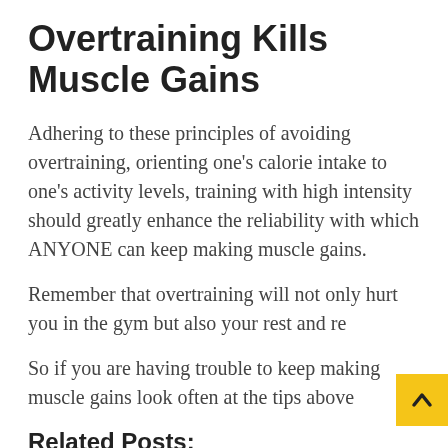Overtraining Kills Muscle Gains
Adhering to these principles of avoiding overtraining, orienting one's calorie intake to one's activity levels, training with high intensity should greatly enhance the reliability with which ANYONE can keep making muscle gains.
Remember that overtraining will not only hurt you in the gym but also your rest and re
So if you are having trouble to keep making muscle gains look often at the tips above
Related Posts: